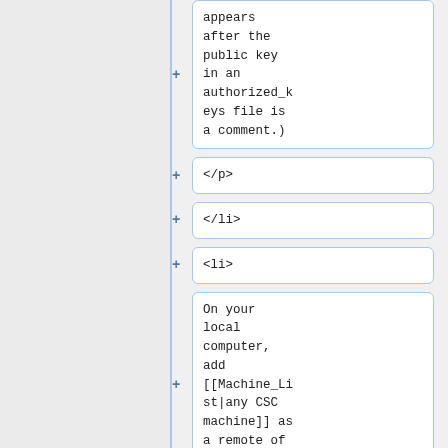appears after the public key in an authorized_keys file is a comment.)
</p>
</li>
<li>
On your local computer, add [[Machine_List|any CSC machine]] as a remote of your git